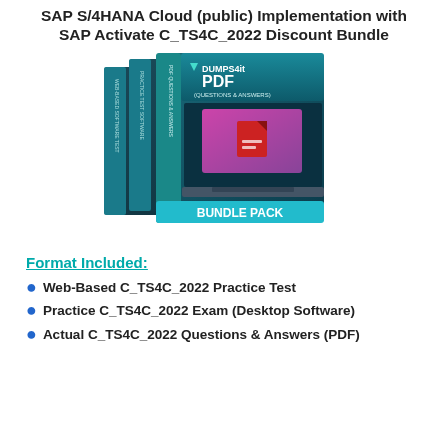SAP S/4HANA Cloud (public) Implementation with SAP Activate C_TS4C_2022 Discount Bundle
[Figure (illustration): Dumps4it PDF Bundle Pack product image showing three stacked dark boxes with teal accents labeled: WEB-BASED SOFTWARE TEST, PRACTICE TEST SOFTWARE, PDF QUESTIONS & ANSWERS. Front box shows DUMPS4it logo, PDF (QUESTIONS & ANSWERS), laptop graphic, and BUNDLE PACK label.]
Format Included:
Web-Based C_TS4C_2022 Practice Test
Practice C_TS4C_2022 Exam (Desktop Software)
Actual C_TS4C_2022 Questions & Answers (PDF)